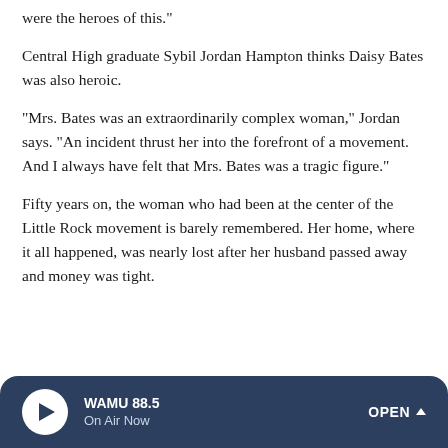were the heroes of this."
Central High graduate Sybil Jordan Hampton thinks Daisy Bates was also heroic.
"Mrs. Bates was an extraordinarily complex woman," Jordan says. "An incident thrust her into the forefront of a movement. And I always have felt that Mrs. Bates was a tragic figure."
Fifty years on, the woman who had been at the center of the Little Rock movement is barely remembered. Her home, where it all happened, was nearly lost after her husband passed away and money was tight.
WAMU 88.5 On Air Now OPEN